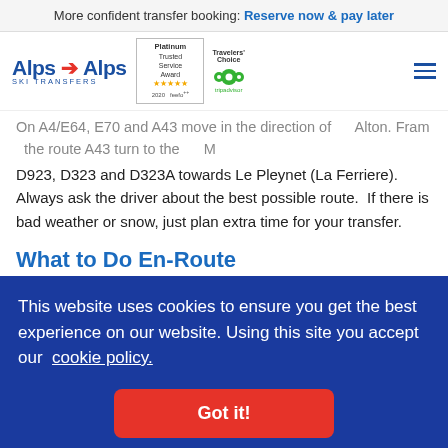More confident transfer booking: Reserve now & pay later
[Figure (logo): Alps 2 Alps Ski Transfers logo with Platinum Trusted Service Award (feefo) and Travellers Choice (Tripadvisor) badges]
On A4/E64, E70 and A43 move in the direction of Alton. From the route A43 turn to the M... D923, D323 and D323A towards Le Pleynet (La Ferriere). Always ask the driver about the best possible route. If there is bad weather or snow, just plan extra time for your transfer.
What to Do En-Route
You don't have to go straight to your dream ski destination. If you want to stop at any stage of the transfer, you can ask your ... of ... m ... ay
This website uses cookies to ensure you get the best experience on our website. Using this site you accept our cookie policy.
Got it!